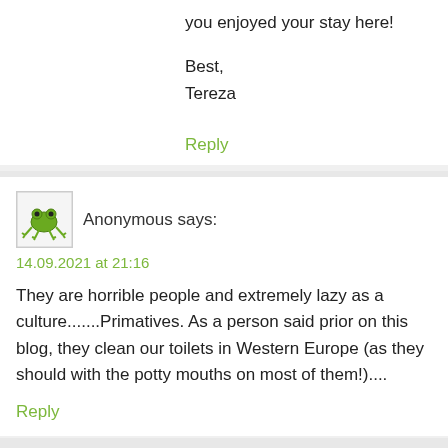you enjoyed your stay here!

Best,
Tereza
Reply
Anonymous says:
14.09.2021 at 21:16
They are horrible people and extremely lazy as a culture.......Primatives. As a person said prior on this blog, they clean our toilets in Western Europe (as they should with the potty mouths on most of them!)....
Reply